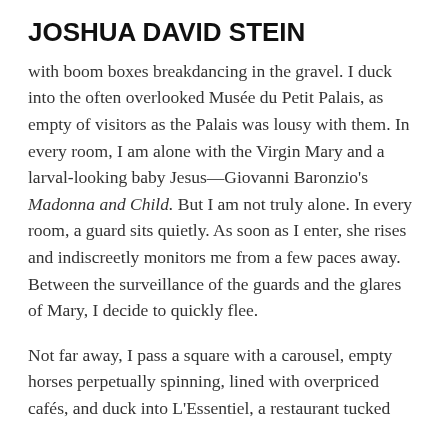JOSHUA DAVID STEIN
with boom boxes breakdancing in the gravel. I duck into the often overlooked Musée du Petit Palais, as empty of visitors as the Palais was lousy with them. In every room, I am alone with the Virgin Mary and a larval-looking baby Jesus—Giovanni Baronzio's Madonna and Child. But I am not truly alone. In every room, a guard sits quietly. As soon as I enter, she rises and indiscreetly monitors me from a few paces away. Between the surveillance of the guards and the glares of Mary, I decide to quickly flee.
Not far away, I pass a square with a carousel, empty horses perpetually spinning, lined with overpriced cafés, and duck into L'Essentiel, a restaurant tucked